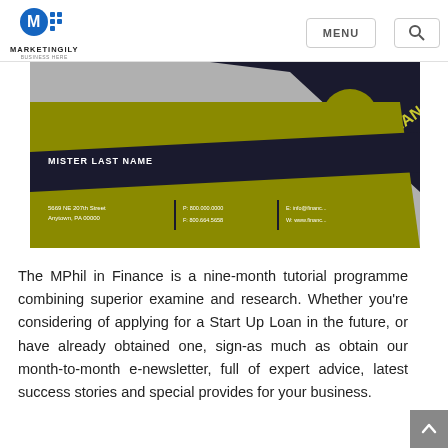MARKETINGILY
[Figure (photo): Financial planner business cards with olive/dark blue design. One card shows 'MISTER LAST NAME' and contact details including '5669 NE 207th Street, Anytown, PA 00000', 'P: 800.000.0000', 'F: 800.664.5658', 'E: info@financ...', 'W: www.financ...'. The other card shows a circular 'F' logo and 'FINANCIAL PLANNER' text in olive and dark blue.]
The MPhil in Finance is a nine-month tutorial programme combining superior examine and research. Whether you're considering of applying for a Start Up Loan in the future, or have already obtained one, sign-as much as obtain our month-to-month e-newsletter, full of expert advice, latest success stories and special provides for your business.